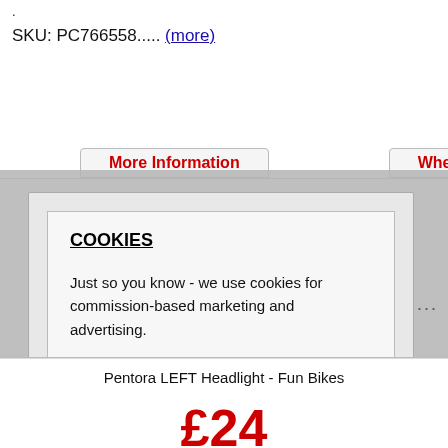.
SKU: PC766558..... (more)
[Figure (screenshot): Cookie consent modal dialog overlay showing 'More Information' and 'Where to buy' tabs partially visible in background, with a grey overlay containing a white inner box. Title: COOKIES. Text: Just so you know - we use cookies for commission-based marketing and advertising. Click ACCEPT COOKIES below to continue and consent to their use. Buttons: 'Accept Cookies' (green) and 'More Options....']
Pentora LEFT Headlight - Fun Bikes
£24